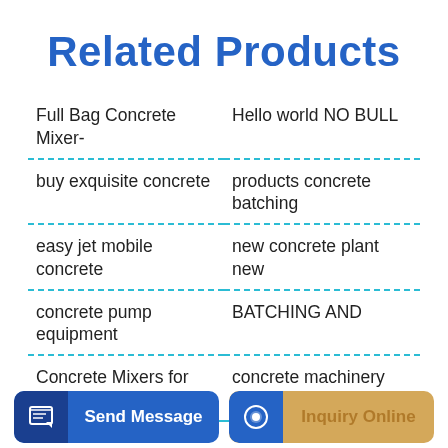Related Products
Full Bag Concrete Mixer-
Hello world NO BULL
buy exquisite concrete
products concrete batching
easy jet mobile concrete
new concrete plant new
concrete pump equipment
BATCHING AND
Concrete Mixers for sale in
concrete machinery
Send Message
Inquiry Online